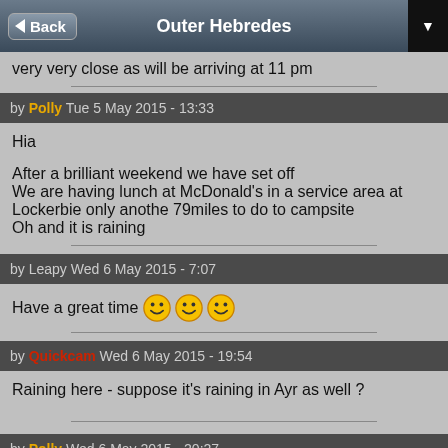Outer Hebredes
very very close as will be arriving at 11 pm
by Polly Tue 5 May 2015 - 13:33
Hia

After a brilliant weekend we have set off
We are having lunch at McDonald's in a service area at Lockerbie only anothe 79miles to do to campsite
Oh and it is raining
by Leapy Wed 6 May 2015 - 7:07
Have a great time 😊 😊 😊
by Quickcam Wed 6 May 2015 - 19:54
Raining here - suppose it's raining in Ayr as well ?
by Polly Wed 6 May 2015 - 20:27